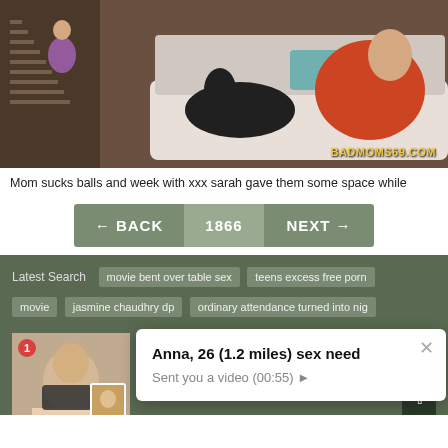[Figure (photo): Screenshot of adult video thumbnail with watermark BADMOMS69.COM]
Mom sucks balls and week with xxx sarah gave them some space while
[Figure (screenshot): Navigation buttons: ← BACK | 1866 | NEXT →]
[Figure (screenshot): Search section with tags: movie bent over table sex, teens excess free porn, movie, jasmine chaudhry dp, ordinary attendance turned into nig. Pop-up notification: Anna, 26 (1.2 miles) sex need - Sent you a video (00:55) ►. Contact thumbnail with badge 1.]